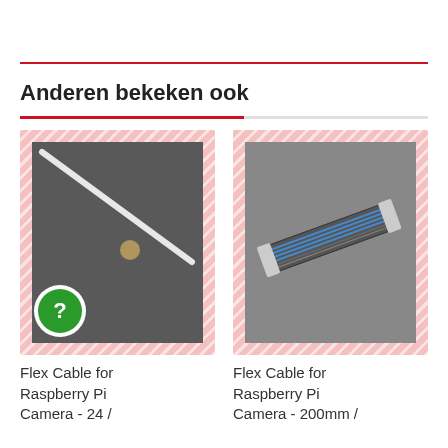Anderen bekeken ook
[Figure (photo): Product image placeholder with question mark badge — Flex Cable for Raspberry Pi Camera - 24]
Flex Cable for Raspberry Pi Camera - 24 /
[Figure (photo): Photo of a flat flex ribbon cable — Flex Cable for Raspberry Pi Camera - 200mm]
Flex Cable for Raspberry Pi Camera - 200mm /